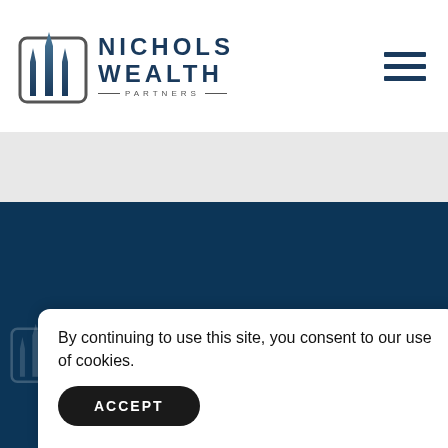[Figure (logo): Nichols Wealth Partners logo with stylized building/arrow icon in dark blue and gray, company name in bold dark navy blue lettering with PARTNERS subtitle]
[Figure (other): Hamburger menu icon with three horizontal dark navy lines in upper right]
[Figure (other): Light gray banner/divider band]
[Figure (other): Dark navy blue section with faint watermark of logo in lower left]
By continuing to use this site, you consent to our use of cookies.
ACCEPT